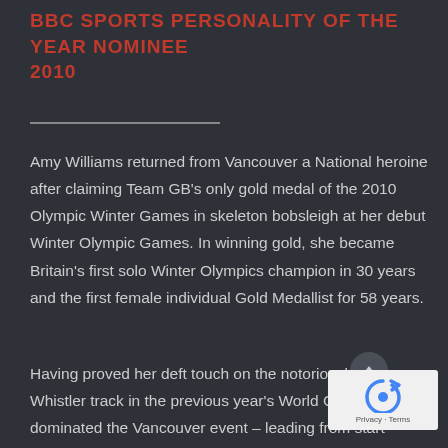BBC Sports Personality of the Year Nominee 2010
Amy Williams returned from Vancouver a National heroine after claiming Team GB's only gold medal of the 2010 Olympic Winter Games in skeleton bobsleigh at her debut Winter Olympic Games. In winning gold, she became Britain's first solo Winter Olympics champion in 30 years and the first female individual Gold Medallist for 58 years.
Having proved her deft touch on the notoriously fast Whistler track in the previous year's World Cup, Amy dominated the Vancouver event – leading from start